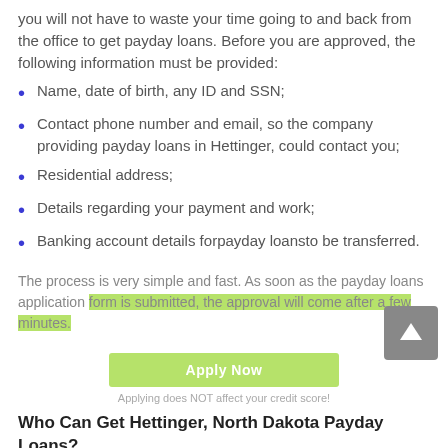you will not have to waste your time going to and back from the office to get payday loans. Before you are approved, the following information must be provided:
Name, date of birth, any ID and SSN;
Contact phone number and email, so the company providing payday loans in Hettinger, could contact you;
Residential address;
Details regarding your payment and work;
Banking account details forpayday loansto be transferred.
The process is very simple and fast. As soon as the payday loans application form is submitted, the approval will come after a few minutes.
Apply Now
Applying does NOT affect your credit score!
Who Can Get Hettinger, North Dakota Payday Loans?